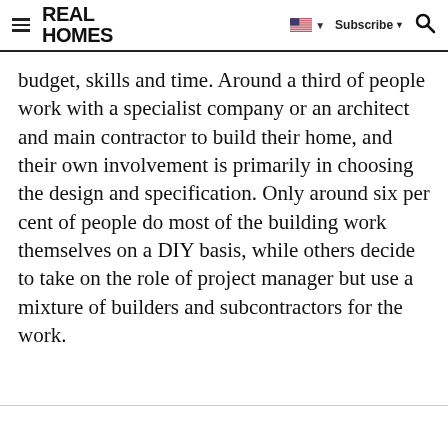REAL HOMES — Subscribe
budget, skills and time. Around a third of people work with a specialist company or an architect and main contractor to build their home, and their own involvement is primarily in choosing the design and specification. Only around six per cent of people do most of the building work themselves on a DIY basis, while others decide to take on the role of project manager but use a mixture of builders and subcontractors for the work.